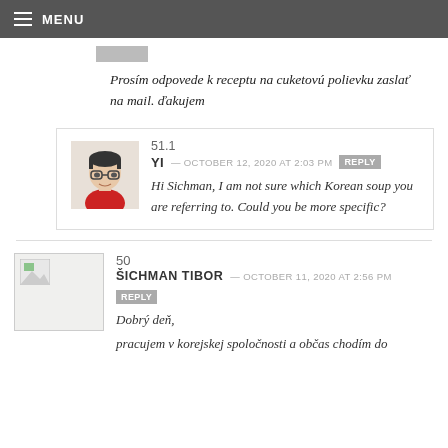MENU
Prosím odpovede k receptu na cuketovú polievku zaslať na mail. ďakujem
51.1
YI — OCTOBER 12, 2020 AT 2:03 PM
REPLY
Hi Sichman, I am not sure which Korean soup you are referring to. Could you be more specific?
50
ŠICHMAN TIBOR — OCTOBER 11, 2020 AT 2:56 PM
REPLY
Dobrý deň,
pracujem v korejskej spoločnosti a občas chodím do